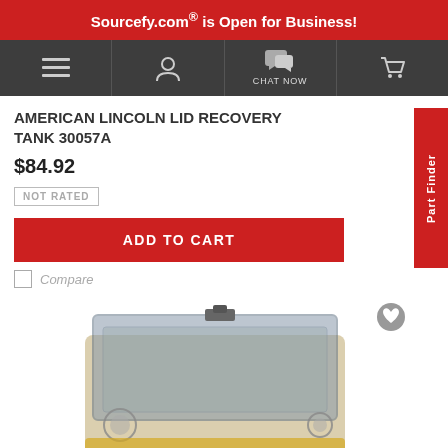Sourcefy.com® is Open for Business!
[Figure (screenshot): Navigation bar with hamburger menu, user icon, chat now icon, and shopping cart icon on dark background]
AMERICAN LINCOLN LID RECOVERY TANK 30057A
$84.92
NOT RATED
ADD TO CART
Compare
[Figure (photo): Product photo of American Lincoln lid recovery tank 30057A, a transparent rectangular plastic container with a latch on top]